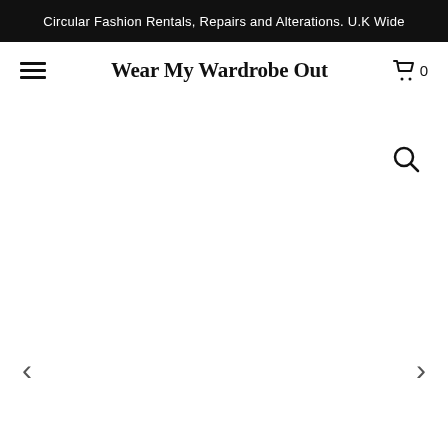Circular Fashion Rentals, Repairs and Alterations. U.K Wide
Wear My Wardrobe Out
[Figure (screenshot): Website navigation bar with hamburger menu icon on the left, brand logo 'Wear My Wardrobe Out' in center, and shopping cart icon with 0 on the right]
[Figure (other): Search icon (magnifying glass) in the upper right area of the content region]
[Figure (other): Left arrow navigation chevron at the bottom left]
[Figure (other): Right arrow navigation chevron at the bottom right]